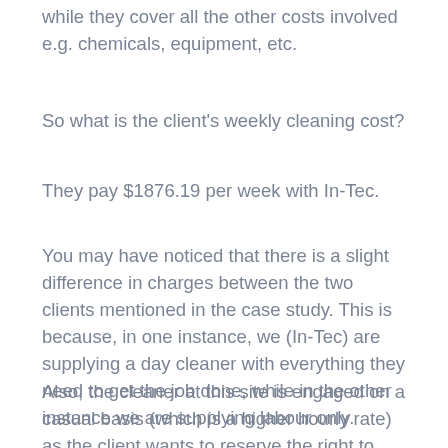while they cover all the other costs involved e.g. chemicals, equipment, etc.
So what is the client's weekly cleaning cost?
They pay $1876.19 per week with In-Tec.
You may have noticed that there is a slight difference in charges between the two clients mentioned in the case study. This is because, in one instance, we (In-Tec) are supplying a day cleaner with everything they need to get the job done, while in the other instance we are supplying labour only.
Also, the cleaner at this site is engaged on a casual basis (which is a higher hourly rate) as the client wants to reserve the right to engage